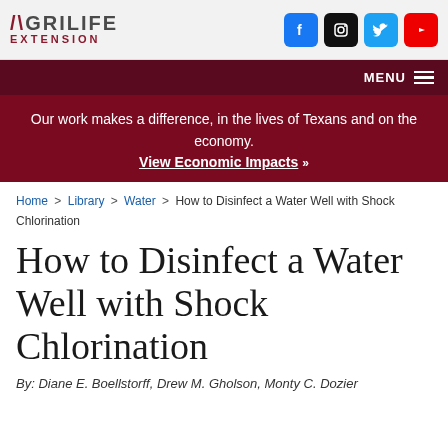AgriLife Extension
Our work makes a difference, in the lives of Texans and on the economy. View Economic Impacts »
Home > Library > Water > How to Disinfect a Water Well with Shock Chlorination
How to Disinfect a Water Well with Shock Chlorination
By: Diane E. Boellstorff, Drew M. Gholson, Monty C. Dozier